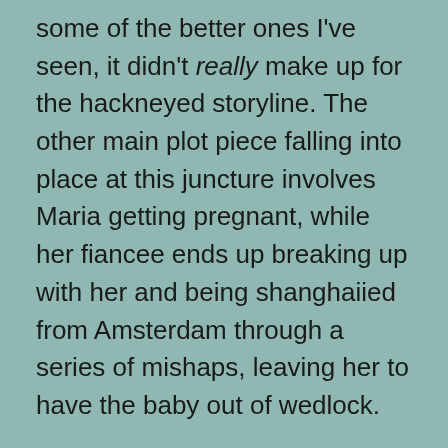some of the better ones I've seen, it didn't really make up for the hackneyed storyline. The other main plot piece falling into place at this juncture involves Maria getting pregnant, while her fiancee ends up breaking up with her and being shanghaiied from Amsterdam through a series of mishaps, leaving her to have the baby out of wedlock. Since Sophia and Maria are very close, Maria confides in Sophia, and together the two of them try to make a plan that will help them both out of their respective messes. The two women work together to take advantage of